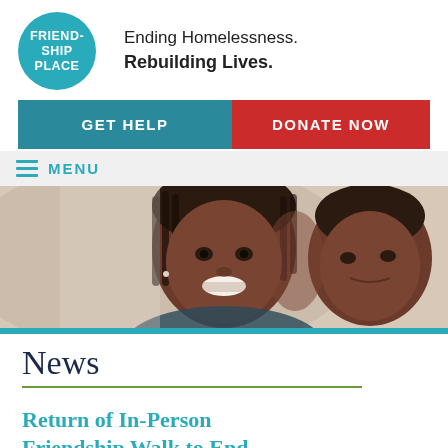[Figure (logo): Friendship Place circular logo in teal with white text reading FRIEND-SHIP PLACE]
Ending Homelessness. Rebuilding Lives.
[Figure (infographic): GET HELP teal button and DONATE NOW red button]
[Figure (infographic): Hamburger menu icon with MENU text in teal]
[Figure (photo): Close-up photo of a smiling Black woman and a young boy cheek to cheek]
News
Return of In-Person Friendship Walk to End